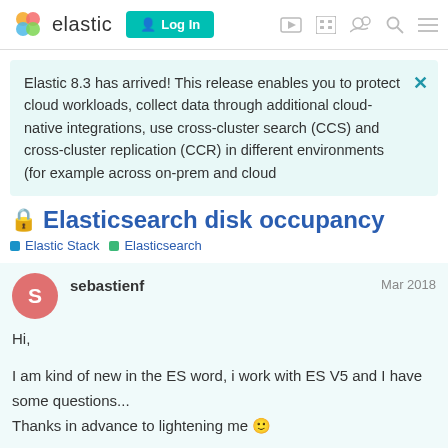elastic  Log In
Elastic 8.3 has arrived! This release enables you to protect cloud workloads, collect data through additional cloud-native integrations, use cross-cluster search (CCS) and cross-cluster replication (CCR) in different environments (for example across on-prem and cloud
Elasticsearch disk occupancy
Elastic Stack  Elasticsearch
sebastienf  Mar 2018
Hi,

I am kind of new in the ES word, i work with ES V5 and I have some questions...
Thanks in advance to lightening me 🙂
1 / 3